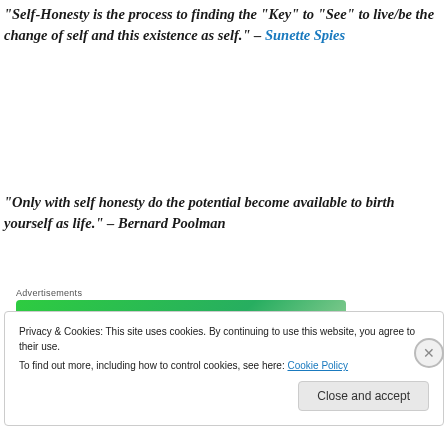“Self-Honesty is the process to finding the “Key” to “See” to live/be the change of self and this existence as self.” – Sunette Spies
“Only with self honesty do the potential become available to birth yourself as life.” – Bernard Poolman
[Figure (other): Jetpack advertisement banner with green background showing Jetpack logo and 'Secure Your Site' button]
Privacy & Cookies: This site uses cookies. By continuing to use this website, you agree to their use.
To find out more, including how to control cookies, see here: Cookie Policy